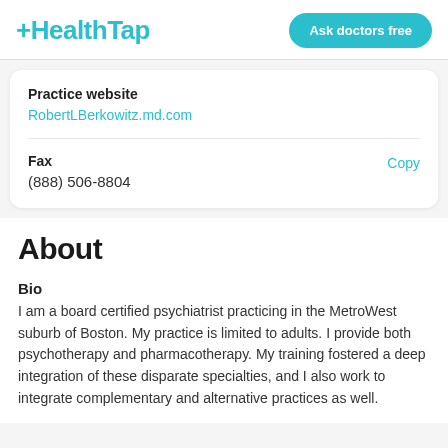+HealthTap | Ask doctors free
Practice website
RobertLBerkowitz.md.com
Fax
(888) 506-8804
Copy
About
Bio
I am a board certified psychiatrist practicing in the MetroWest suburb of Boston. My practice is limited to adults. I provide both psychotherapy and pharmacotherapy. My training fostered a deep integration of these disparate specialties, and I also work to integrate complementary and alternative practices as well.